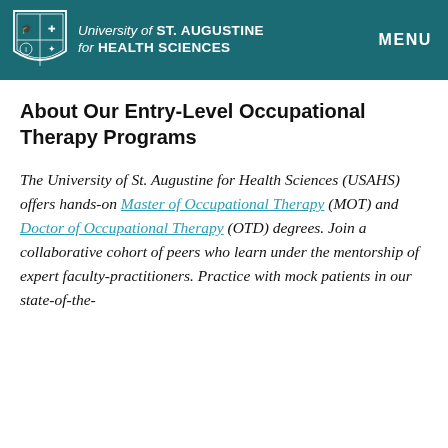University of St. Augustine for Health Sciences — MENU
About Our Entry-Level Occupational Therapy Programs
The University of St. Augustine for Health Sciences (USAHS) offers hands-on Master of Occupational Therapy (MOT) and Doctor of Occupational Therapy (OTD) degrees. Join a collaborative cohort of peers who learn under the mentorship of expert faculty-practitioners. Practice with mock patients in our state-of-the-